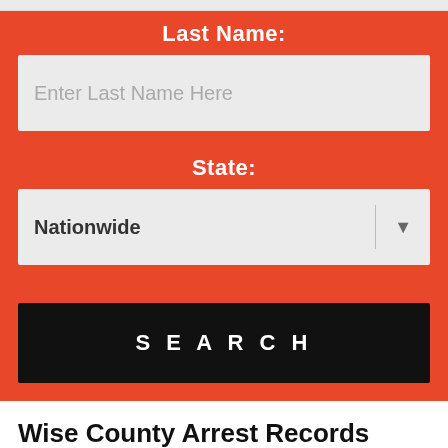Last Name:
Enter Last Name Here
State:
Nationwide
SEARCH
Wise County Arrest Records
Upshots to careless decisions in life are sadly